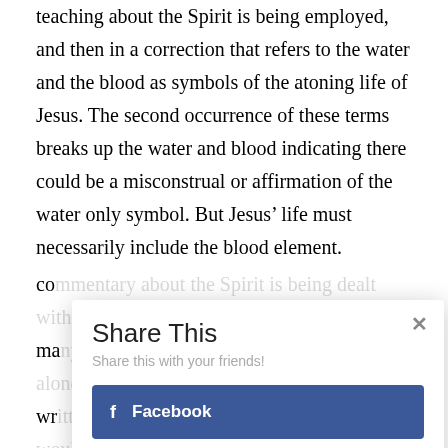teaching about the Spirit is being employed, and then in a correction that refers to the water and the blood as symbols of the atoning life of Jesus. The second occurrence of these terms breaks up the water and blood indicating there could be a misconstrual or affirmation of the water only symbol. But Jesus' life must necessarily include the blood element.
co... o ma... wr... alt mo... tha... rea...
[Figure (screenshot): A 'Share This' modal dialog overlaying the page content. It contains a title 'Share This', subtitle 'Share this with your friends!', a close button (×), a dark blue Facebook button with 'f' icon and text 'Facebook', and a light blue Twitter button with bird icon and text 'Twitter'.]